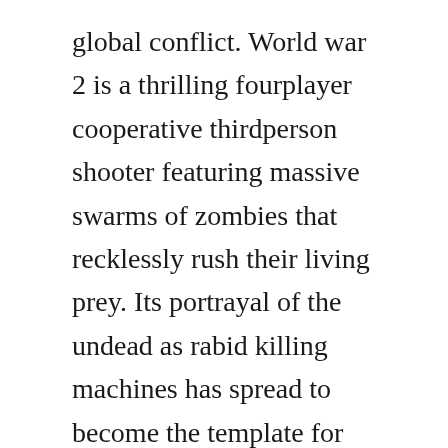global conflict. World war 2 is a thrilling fourplayer cooperative thirdperson shooter featuring massive swarms of zombies that recklessly rush their living prey. Its portrayal of the undead as rabid killing machines has spread to become the template for the species, and the books. The freedom, god help us, to say i was only following orders. Word war z revolves around a privileged white male. Spanish translation of first world war the official collins englishspanish dictionary online.
Nastya and papa pretend play of toy shop and